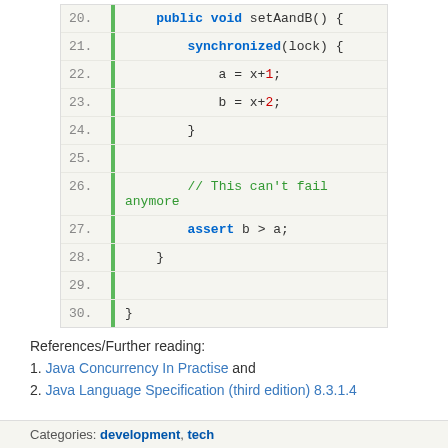[Figure (screenshot): Java code snippet lines 20-30 showing setAandB() method with synchronized block, assignments a=x+1 and b=x+2, a comment and assert statement]
References/Further reading:
1. Java Concurrency In Practise and
2. Java Language Specification (third edition) 8.3.1.4
Categories: development, tech